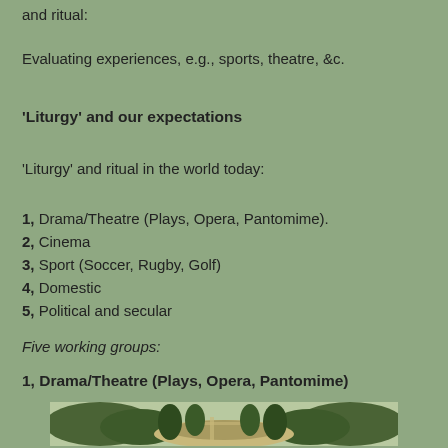and ritual:
Evaluating experiences, e.g., sports, theatre, &c.
'Liturgy' and our expectations
'Liturgy' and ritual in the world today:
1, Drama/Theatre (Plays, Opera, Pantomime).
2, Cinema
3, Sport (Soccer, Rugby, Golf)
4, Domestic
5, Political and secular
Five working groups:
1, Drama/Theatre (Plays, Opera, Pantomime)
[Figure (photo): Aerial view of an ancient theatre or outdoor amphitheatre surrounded by trees and pathways]